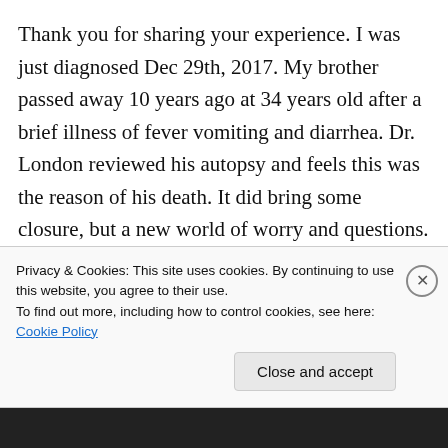Thank you for sharing your experience. I was just diagnosed Dec 29th, 2017. My brother passed away 10 years ago at 34 years old after a brief illness of fever vomiting and diarrhea. Dr. London reviewed his autopsy and feels this was the reason of his death. It did bring some closure, but a new world of worry and questions. I have 3 children, 20 year old son, 16 year old son, and 7 year old daughter. The 16 year old has an abnormal EKG and my daughter has chest pains frequently and will be seen in Iowa
Privacy & Cookies: This site uses cookies. By continuing to use this website, you agree to their use.
To find out more, including how to control cookies, see here: Cookie Policy
Close and accept